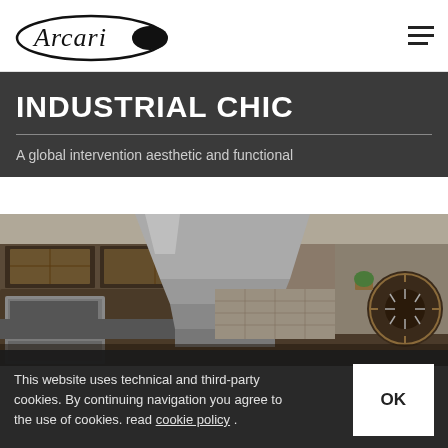Arcari — navigation header with hamburger menu
INDUSTRIAL CHIC
A global intervention aesthetic and functional
[Figure (photo): Interior kitchen photo showing dark wood cabinetry with glass-front upper cabinets, stainless steel range hood, built-in microwave and oven, and a large decorative circular clock on the right wall]
This website uses technical and third-party cookies. By continuing navigation you agree to the use of cookies. read cookie policy .